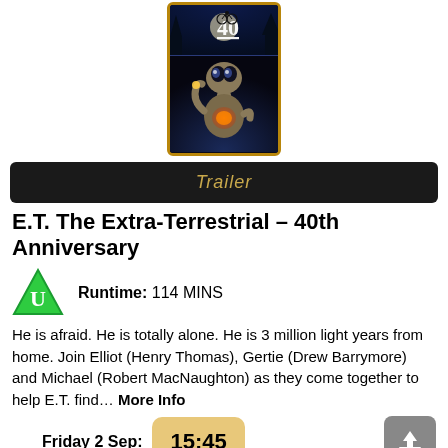[Figure (photo): E.T. The Extra-Terrestrial 40th Anniversary movie poster showing E.T. with glowing chest, bicycle silhouette against moon sky, gold border]
Trailer
E.T. The Extra-Terrestrial – 40th Anniversary
Runtime: 114 MINS
He is afraid. He is totally alone. He is 3 million light years from home. Join Elliot (Henry Thomas), Gertie (Drew Barrymore) and Michael (Robert MacNaughton) as they come together to help E.T. find… More Info
Friday 2 Sep: 15:45